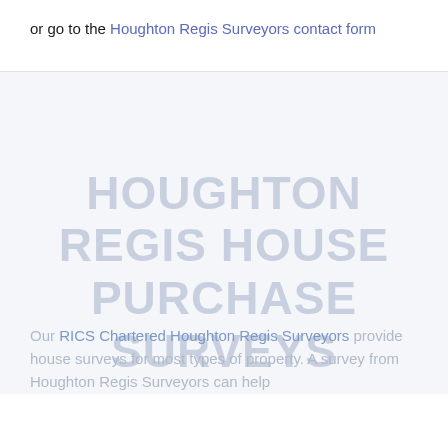or go to the Houghton Regis Surveyors contact form
HOUGHTON REGIS HOUSE PURCHASE SURVEYS
Our RICS Chartered Houghton Regis Surveyors provide house surveys for most types of property. A survey from Houghton Regis Surveyors can help...